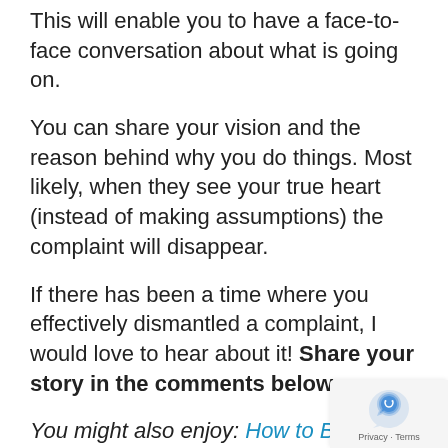This will enable you to have a face-to-face conversation about what is going on.
You can share your vision and the reason behind why you do things. Most likely, when they see your true heart (instead of making assumptions) the complaint will disappear.
If there has been a time where you effectively dismantled a complaint, I would love to hear about it! Share your story in the comments below.
You might also enjoy: How to Be an Effective Worship Leader to All Generations